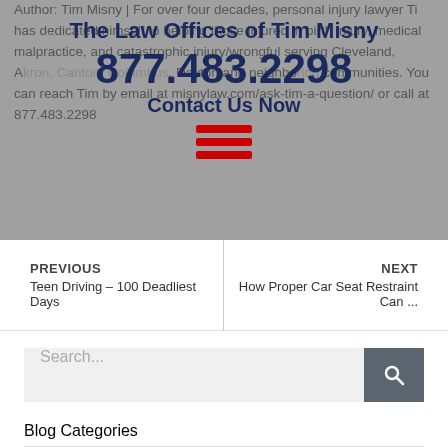Author: Tim Misny | For over four decades, personal injury lawyer Tim Mishy has dedicated himself to helping those injured in birth injury, medical malpractice, and catastrophic injury/wrongful death cases. Tim is a personal injury lawyer serving Cleveland, Akron, Canton, Columbus, Dayton and neighboring communities. You can reach Tim by email at misnylaw.com/ask-tim-a-question/ or call at 877.483.2298
The Law Offices of Tim Misny
877.483.2298
Contact Us Now
[Figure (other): Hamburger menu icon with three red horizontal bars]
PREVIOUS
Teen Driving – 100 Deadliest Days
NEXT
How Proper Car Seat Restraint Can ...
Search...
Blog Categories